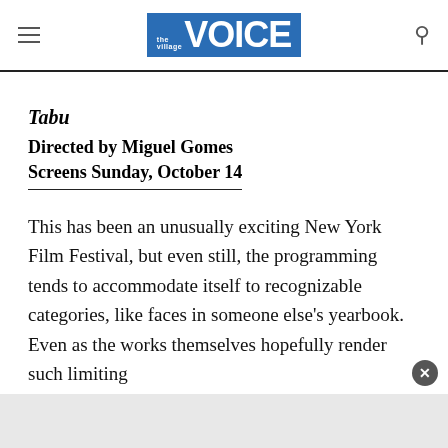the Village VOICE
Tabu
Directed by Miguel Gomes
Screens Sunday, October 14
This has been an unusually exciting New York Film Festival, but even still, the programming tends to accommodate itself to recognizable categories, like faces in someone else's yearbook. Even as the works themselves hopefully render such limiting